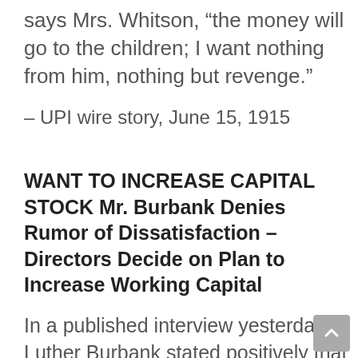says Mrs. Whitson, “the money will go to the children; I want nothing from him, nothing but revenge.”
– UPI wire story, June 15, 1915
WANT TO INCREASE CAPITAL STOCK Mr. Burbank Denies Rumor of Dissatisfaction – Directors Decide on Plan to Increase Working Capital
In a published interview yesterday Luther Burbank stated positively that any rumor to the effect that he was dissatisfied with The Luther Burbank